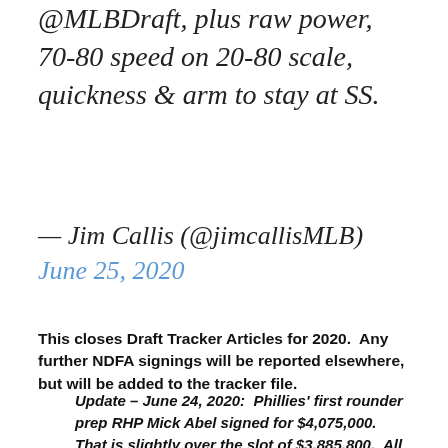@MLBDraft, plus raw power, 70-80 speed on 20-80 scale, quickness & arm to stay at SS.
— Jim Callis (@jimcallisMLB) June 25, 2020
This closes Draft Tracker Articles for 2020.  Any further NDFA signings will be reported elsewhere, but will be added to the tracker file.
Update – June 24, 2020:  Phillies' first rounder prep RHP Mick Abel signed for $4,075,000.  That is slightly over the slot of $3,885,800.  All four Phillies' draft picks have signed, although third rounder Casey